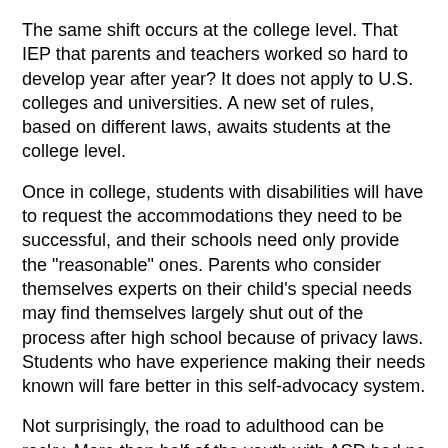The same shift occurs at the college level. That IEP that parents and teachers worked so hard to develop year after year? It does not apply to U.S. colleges and universities. A new set of rules, based on different laws, awaits students at the college level.
Once in college, students with disabilities will have to request the accommodations they need to be successful, and their schools need only provide the "reasonable" ones. Parents who consider themselves experts on their child's special needs may find themselves largely shut out of the process after high school because of privacy laws. Students who have experience making their needs known will fare better in this self-advocacy system.
Not surprisingly, the road to adulthood can be rocky. More than half of the youth with ASD had no job and no involvement with postsecondary education in the two years after leaving high school, according to a study in the journal Pediatrics. In fact, they fared worse than their peers with other types of disabilities in several measures of post-high school outcomes.3 Students with ASD from lower-income families and those with greater impairments are at especially high risk.